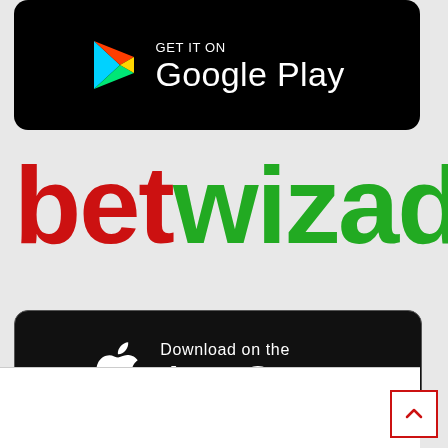[Figure (logo): Google Play store badge — black rounded rectangle with Google Play triangle logo and text 'Google Play' in white]
[Figure (logo): betwizad logo — 'bet' in red bold text and 'wizad' in green bold text]
[Figure (logo): Apple App Store download badge — dark rounded rectangle with white Apple logo and text 'Download on the App Store']
[Figure (screenshot): Bottom panel showing white area and a red-bordered scroll-to-top arrow button in bottom right corner]